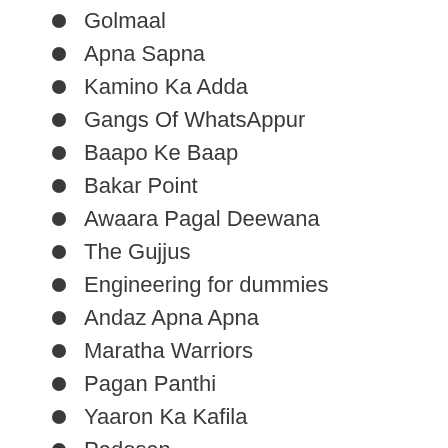Golmaal
Apna Sapna
Kamino Ka Adda
Gangs Of WhatsAppur
Baapo Ke Baap
Bakar Point
Awaara Pagal Deewana
The Gujjus
Engineering for dummies
Andaz Apna Apna
Maratha Warriors
Pagan Panthi
Yaaron Ka Kafila
Padosan
Angur
Boss
Punjabi Kudis
Velle Log